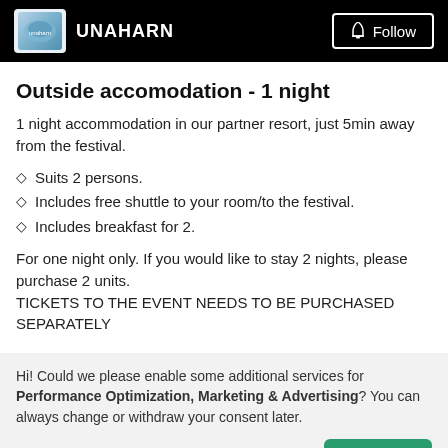UNAHARN  Follow
Outside accomodation - 1 night
1 night accommodation in our partner resort, just 5min away from the festival.
Suits 2 persons.
Includes free shuttle to your room/to the festival.
Includes breakfast for 2.
For one night only. If you would like to stay 2 nights, please purchase 2 units.
TICKETS TO THE EVENT NEEDS TO BE PURCHASED SEPARATELY
Hi! Could we please enable some additional services for Performance Optimization, Marketing & Advertising? You can always change or withdraw your consent later.
Let me choose   That's ok